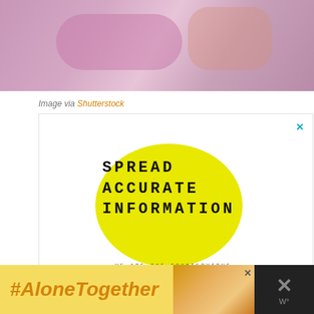[Figure (photo): Top portion of a photo showing two people in pink/floral clothing, cropped at shoulders/chest level]
Image via Shutterstock
[Figure (infographic): Advertisement graphic with yellow speech bubble containing bold text 'SPREAD ACCURATE INFORMATION' in black courier font, with tagline 'WE ARE THE COUNTERVIRUS.' and a close X button in cyan, on white background]
[Figure (infographic): Bottom advertisement bar: '#AloneTogether' in orange italic on yellow background, photo of woman at laptop, close X button, and a dark logo area with X symbol and degree mark]